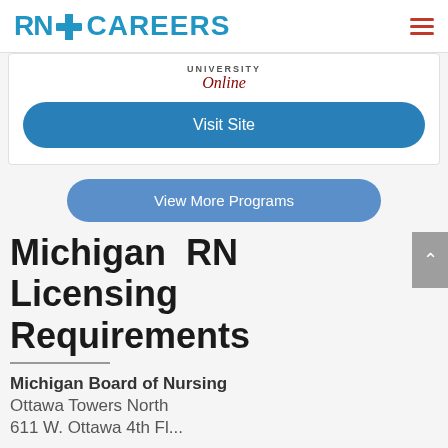RN + CAREERS
UNIVERSITY
Online
Visit Site
View More Programs
Michigan RN Licensing Requirements
Michigan Board of Nursing
Ottawa Towers North
611 W. Ottawa 4th Fl...